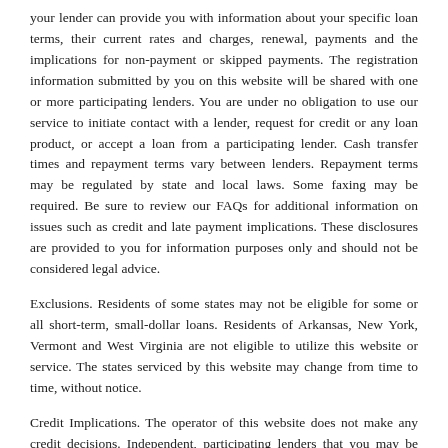your lender can provide you with information about your specific loan terms, their current rates and charges, renewal, payments and the implications for non-payment or skipped payments. The registration information submitted by you on this website will be shared with one or more participating lenders. You are under no obligation to use our service to initiate contact with a lender, request for credit or any loan product, or accept a loan from a participating lender. Cash transfer times and repayment terms vary between lenders. Repayment terms may be regulated by state and local laws. Some faxing may be required. Be sure to review our FAQs for additional information on issues such as credit and late payment implications. These disclosures are provided to you for information purposes only and should not be considered legal advice.
Exclusions. Residents of some states may not be eligible for some or all short-term, small-dollar loans. Residents of Arkansas, New York, Vermont and West Virginia are not eligible to utilize this website or service. The states serviced by this website may change from time to time, without notice.
Credit Implications. The operator of this website does not make any credit decisions. Independent, participating lenders that you may be connected with may perform credit checks with credit reporting bureaus or obtain consumer reports, typically through alternative providers to determine credit worthiness, credit standing and/or credit capacity. By submitting your information, you agree to allow participating lenders to verify your information and check your credit. Loans provided by independent, participating lenders in our network are designed to provide cash to you to be repaid within a short amount of time. The short-term loans are not a solution for long-term